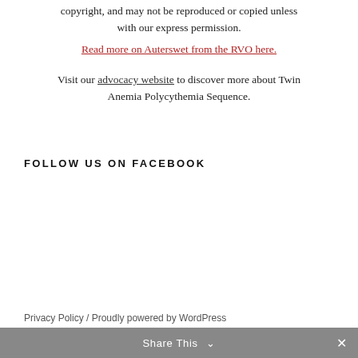copyright, and may not be reproduced or copied unless with our express permission.
Read more on Auterswet from the RVO here.
Visit our advocacy website to discover more about Twin Anemia Polycythemia Sequence.
FOLLOW US ON FACEBOOK
Privacy Policy / Proudly powered by WordPress
Share This ∨  ✕